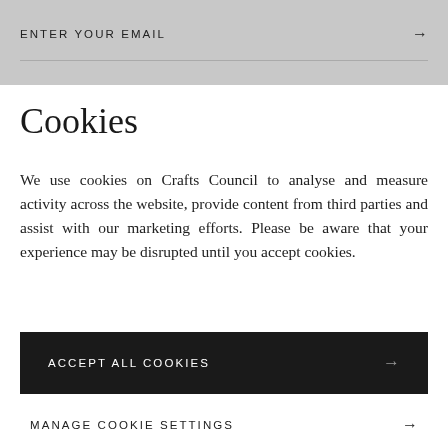ENTER YOUR EMAIL →
Cookies
We use cookies on Crafts Council to analyse and measure activity across the website, provide content from third parties and assist with our marketing efforts. Please be aware that your experience may be disrupted until you accept cookies.
ACCEPT ALL COOKIES →
MANAGE COOKIE SETTINGS →